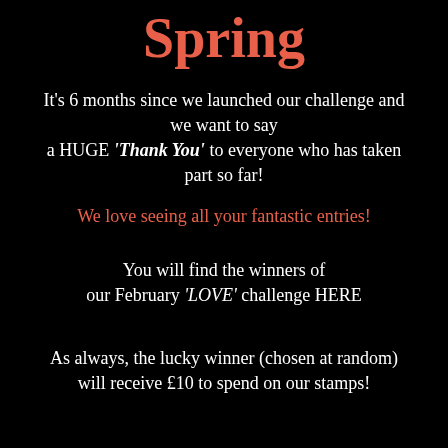Spring
It's 6 months since we launched our challenge and we want to say a HUGE 'Thank You' to everyone who has taken part so far!
We love seeing all your fantastic entries!
You will find the winners of our February 'LOVE' challenge HERE
As always, the lucky winner (chosen at random) will receive £10 to spend on our stamps!